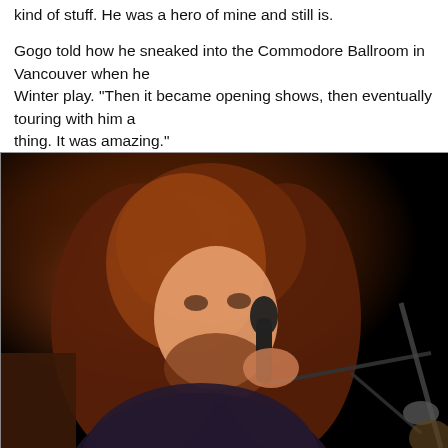kind of stuff. He was a hero of mine and still is.
Gogo told how he sneaked into the Commodore Ballroom in Vancouver when he... Winter play. "Then it became opening shows, then eventually touring with him a... thing. It was amazing."
[Figure (photo): A man with long reddish-brown curly hair and a beard, wearing a dark shirt, singing into a microphone on a dark stage with warm orange stage lighting.]